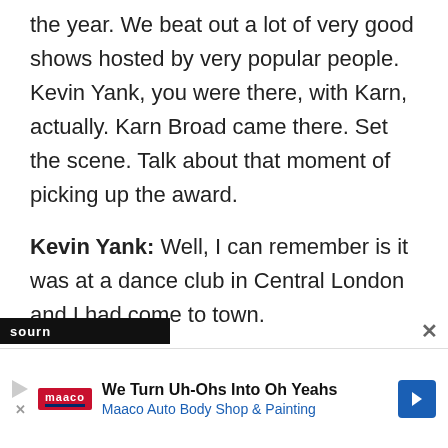the year. We beat out a lot of very good shows hosted by very popular people. Kevin Yank, you were there, with Karn, actually. Karn Broad came there. Set the scene. Talk about that moment of picking up the award.
Kevin Yank: Well, I can remember is it was at a dance club in Central London and I had come to town.
Patrick: And, you were, like, I have to stop dancing for a second.
sourn
[Figure (other): Advertisement banner for Maaco Auto Body Shop & Painting with tagline 'We Turn Uh-Ohs Into Oh Yeahs']